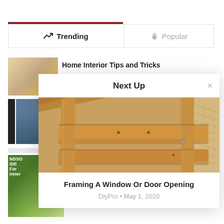Trending
Popular
Home Interior Tips and Tricks
Next Up
[Figure (photo): Close-up photo of wood framing for a window or door opening showing lumber studs and header beams]
Framing A Window Or Door Opening
DiyPro • May 1, 2020